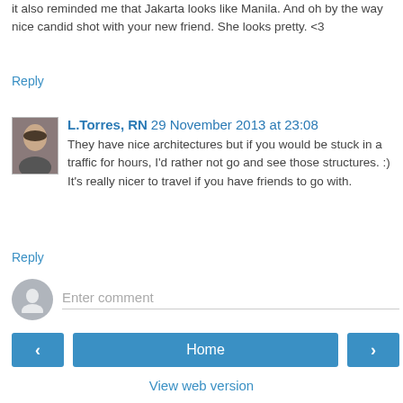it also reminded me that Jakarta looks like Manila. And oh by the way nice candid shot with your new friend. She looks pretty. <3
Reply
L.Torres, RN 29 November 2013 at 23:08
They have nice architectures but if you would be stuck in a traffic for hours, I'd rather not go and see those structures. :) It's really nicer to travel if you have friends to go with.
Reply
Enter comment
Home
View web version